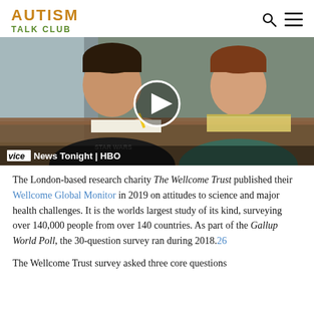AUTISM TALK CLUB
[Figure (photo): Video thumbnail showing two children at a table, one writing, one looking at something. Overlay shows VICE News Tonight | HBO logo and a play button.]
The London-based research charity The Wellcome Trust published their Wellcome Global Monitor in 2019 on attitudes to science and major health challenges. It is the worlds largest study of its kind, surveying over 140,000 people from over 140 countries. As part of the Gallup World Poll, the 30-question survey ran during 2018.26
The Wellcome Trust survey asked three core questions